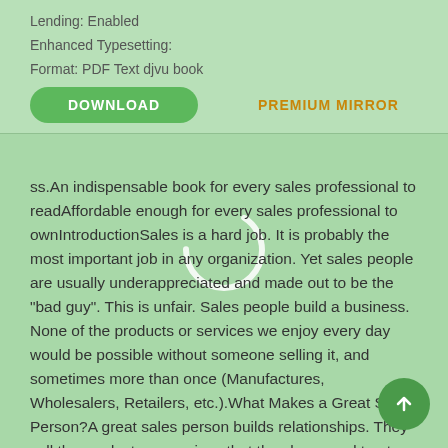Lending: Enabled
Enhanced Typesetting:
Format: PDF Text djvu book
DOWNLOAD   PREMIUM MIRROR
ss.An indispensable book for every sales professional to readAffordable enough for every sales professional to ownIntroductionSales is a hard job. It is probably the most important job in any organization. Yet sales people are usually underappreciated and made out to be the "bad guy". This is unfair. Sales people build a business. None of the products or services we enjoy every day would be possible without someone selling it, and sometimes more than once (Manufactures, Wholesalers, Retailers, etc.).What Makes a Great Sales Person?A great sales person builds relationships. They sell the products or services that they know and trust